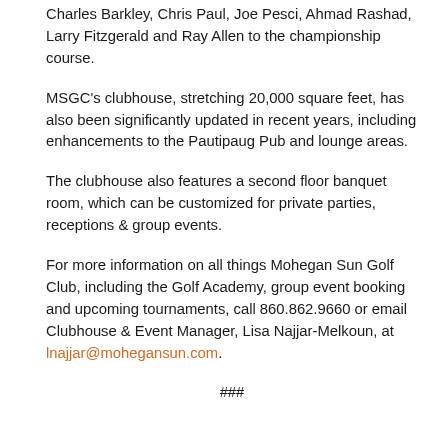Charles Barkley, Chris Paul, Joe Pesci, Ahmad Rashad, Larry Fitzgerald and Ray Allen to the championship course.
MSGC's clubhouse, stretching 20,000 square feet, has also been significantly updated in recent years, including enhancements to the Pautipaug Pub and lounge areas.
The clubhouse also features a second floor banquet room, which can be customized for private parties, receptions & group events.
For more information on all things Mohegan Sun Golf Club, including the Golf Academy, group event booking and upcoming tournaments, call 860.862.9660 or email Clubhouse & Event Manager, Lisa Najjar-Melkoun, at lnajjar@mohegansun.com.
###